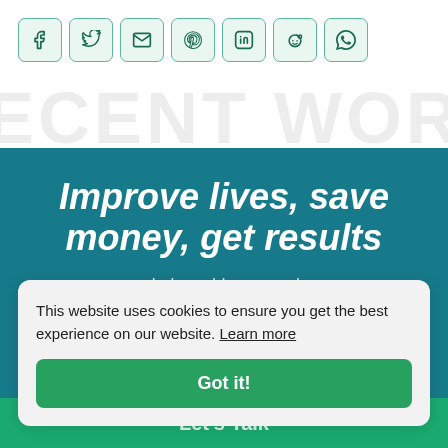[Figure (other): Row of social media share icons: Facebook, Twitter, Email, Pinterest, LinkedIn, Reddit, WhatsApp — each in a rounded teal-bordered mint-green square button]
Improve lives, save money, get results
This website uses cookies to ensure you get the best experience on our website. Learn more
Got it!
Let's Talk